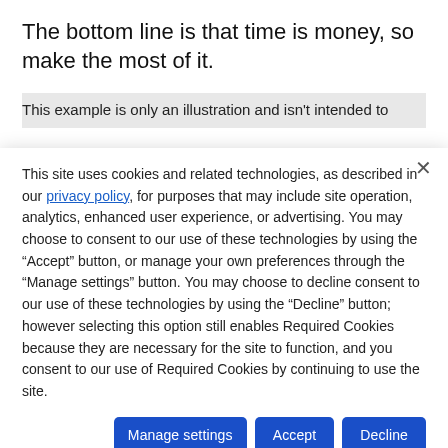The bottom line is that time is money, so make the most of it.
This example is only an illustration and isn't intended to
This site uses cookies and related technologies, as described in our privacy policy, for purposes that may include site operation, analytics, enhanced user experience, or advertising. You may choose to consent to our use of these technologies by using the "Accept" button, or manage your own preferences through the "Manage settings" button. You may choose to decline consent to our use of these technologies by using the "Decline" button; however selecting this option still enables Required Cookies because they are necessary for the site to function, and you consent to our use of Required Cookies by continuing to use the site.